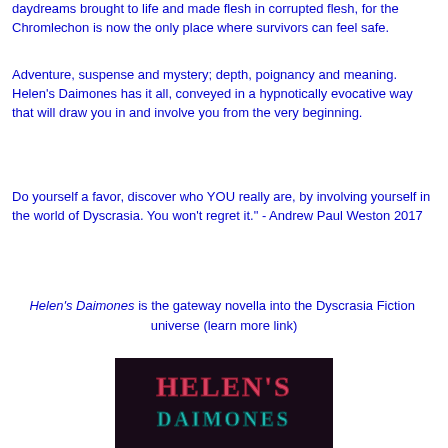daydreams brought to life and made flesh in corrupted flesh, for the Chromlechon is now the only place where survivors can feel safe.
Adventure, suspense and mystery; depth, poignancy and meaning. Helen's Daimones has it all, conveyed in a hypnotically evocative way that will draw you in and involve you from the very beginning.
Do yourself a favor, discover who YOU really are, by involving yourself in the world of Dyscrasia. You won't regret it." - Andrew Paul Weston 2017
Helen's Daimones is the gateway novella into the Dyscrasia Fiction  universe (learn more link)
[Figure (photo): Book cover image showing the title 'Helen's Daimones' in stylized fantasy lettering on a dark background]